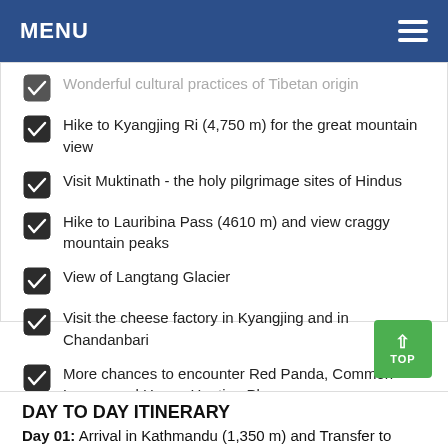MENU
Wonderful cultural practices of Tibetan origin
Hike to Kyangjing Ri (4,750 m) for the great mountain view
Visit Muktinath - the holy pilgrimage sites of Hindus
Hike to Lauribina Pass (4610 m) and view craggy mountain peaks
View of Langtang Glacier
Visit the cheese factory in Kyangjing and in Chandanbari
More chances to encounter Red Panda, Common Langur and Honey Hunting Places
DAY TO DAY ITINERARY
Day 01: Arrival in Kathmandu (1,350 m) and Transfer to